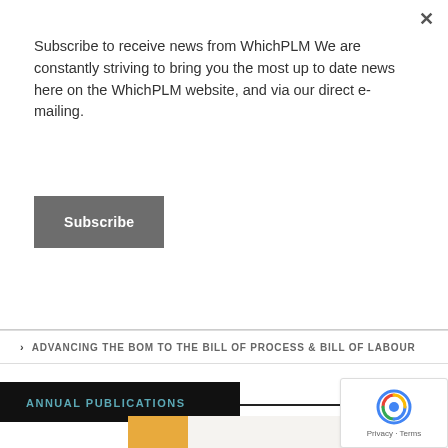Subscribe to receive news from WhichPLM We are constantly striving to bring you the most up to date news here on the WhichPLM website, and via our direct e-mailing.
Subscribe
> ADVANCING THE BOM TO THE BILL OF PROCESS & BILL OF LABOUR
ANNUAL PUBLICATIONS
[Figure (photo): Cover of PLM Buyer's Guide 2021 publication showing text 'PLM BUYER'S GUIDE 2021' with a person in the background]